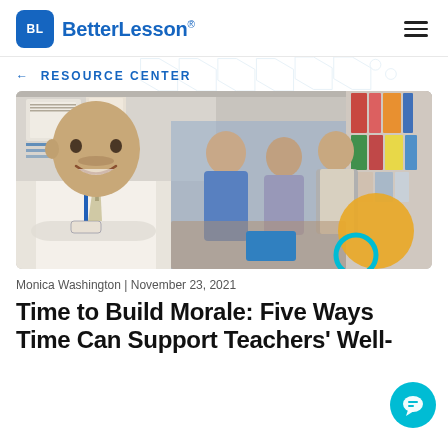BetterLesson®
← RESOURCE CENTER
[Figure (photo): Smiling bald man in white shirt and blue lanyard with crossed arms in foreground; three colleagues in discussion in background in a classroom/office setting. Yellow and teal decorative circles overlay the bottom-right of the image.]
Monica Washington | November 23, 2021
Time to Build Morale: Five Ways [to] Time Can Support Teachers' Well-[being]